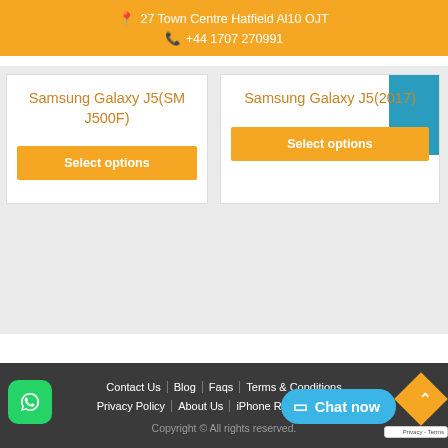27 Town Centre Hatfield Al10 OJT  +44 1707 270991
Samsung Galaxy J5(SM J500F)
Select options
Samsung Galaxy J5(2017)
Select options
Contact Us  Blog  Faqs  Terms & Conditions  Privacy Policy  About Us  iPhone Repair Near Me  Copyright © All rights reserved.